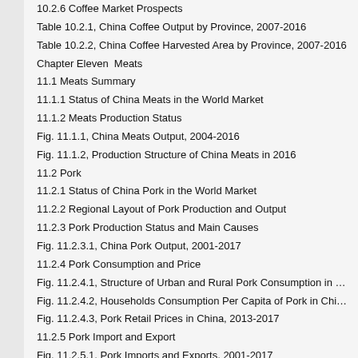10.2.6 Coffee Market Prospects
Table 10.2.1, China Coffee Output by Province, 2007-2016
Table 10.2.2, China Coffee Harvested Area by Province, 2007-2016
Chapter Eleven  Meats
11.1 Meats Summary
11.1.1 Status of China Meats in the World Market
11.1.2 Meats Production Status
Fig. 11.1.1, China Meats Output, 2004-2016
Fig. 11.1.2, Production Structure of China Meats in 2016
11.2 Pork
11.2.1 Status of China Pork in the World Market
11.2.2 Regional Layout of Pork Production and Output
11.2.3 Pork Production Status and Main Causes
Fig. 11.2.3.1, China Pork Output, 2001-2017
11.2.4 Pork Consumption and Price
Fig. 11.2.4.1, Structure of Urban and Rural Pork Consumption in China,
Fig. 11.2.4.2, Households Consumption Per Capita of Pork in China, 200
Fig. 11.2.4.3, Pork Retail Prices in China, 2013-2017
11.2.5 Pork Import and Export
Fig. 11.2.5.1, Pork Imports and Exports, 2001-2017
Fig. 11.2.5.2, China Pork Imports by Country of Origin in 2017
Fig. 11.2.5.3, China Pork Exports by Country of Destination in 2017
11.2.6 Pork Market Prospects
Table 11.2.1, China Pig Inventory by Province, 2007-2016